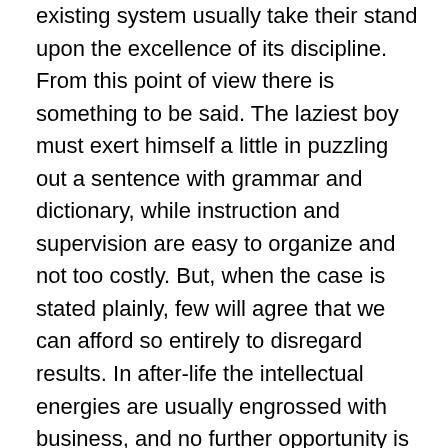existing system usually take their stand upon the excellence of its discipline. From this point of view there is something to be said. The laziest boy must exert himself a little in puzzling out a sentence with grammar and dictionary, while instruction and supervision are easy to organize and not too costly. But, when the case is stated plainly, few will agree that we can afford so entirely to disregard results. In after-life the intellectual energies are usually engrossed with business, and no further opportunity is found for attacking the difficulties which block the gateways of knowledge. Mathematics, especially, if not learned young, are likely to remain unlearned. I will not further insist upon the educational importance of mathematics and science, because with respect to them I shall probably be supposed to be prejudiced. But of modern languages I am ignorant enough to give value to my advocacy. I believe that French